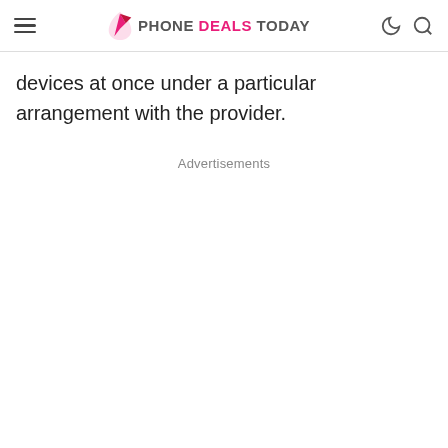PHONE DEALS TODAY
devices at once under a particular arrangement with the provider.
Advertisements